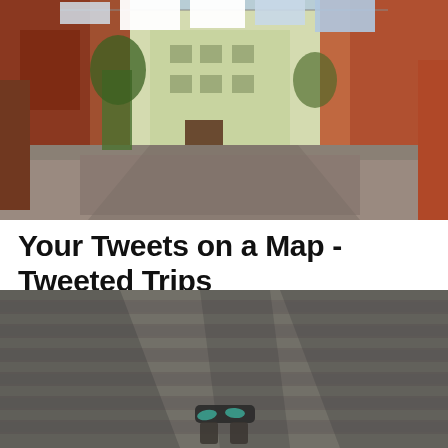[Figure (photo): A quiet cobblestone square in Venice, Italy. Buildings line both sides — red brick on the left and right, pale yellow-green building in the center background. White and blue laundry hangs on lines strung between buildings overhead. Fallen autumn leaves dot the ground.]
Your Tweets on a Map - Tweeted Trips
[Figure (photo): A person lying flat on a wooden deck/boardwalk, seemingly looking up. Teal flip-flops are visible near the feet. The deck boards run horizontally and shadows of other people are cast across the boards. The overall tone is gray and dark wood.]